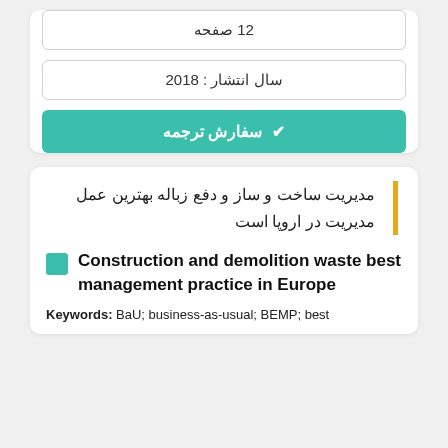12 صفحه
سال انتشار : 2018
✔ سفارش ترجمه
مدیریت ساخت و ساز و دفع زباله بهترین عمل مدیریت در اروپا است
Construction and demolition waste best management practice in Europe
Keywords: BaU; business-as-usual; BEMP; best